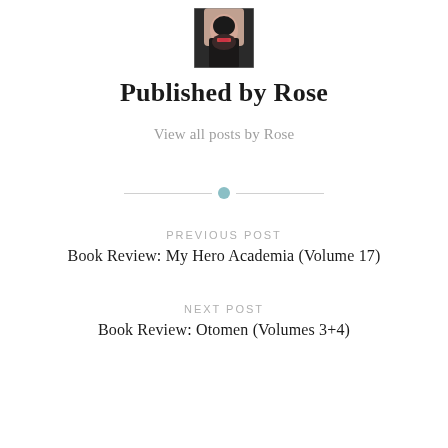[Figure (photo): Small circular-cropped author photo of Rose, a young woman with dark hair and red lipstick]
Published by Rose
View all posts by Rose
[Figure (other): Horizontal divider with a teal dot in the center]
PREVIOUS POST
Book Review: My Hero Academia (Volume 17)
NEXT POST
Book Review: Otomen (Volumes 3+4)